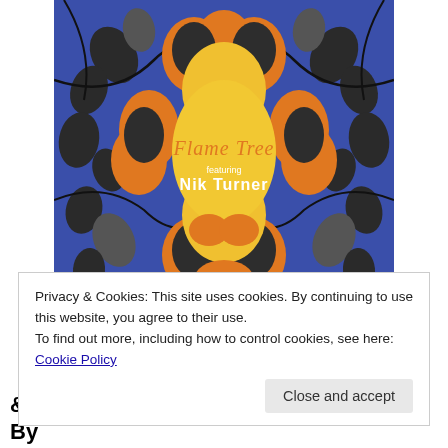[Figure (illustration): Album cover art for 'Flame Tree featuring Nik Turner'. Blue background with stylized orange, yellow, and dark leaf/floral patterns in a kaleidoscopic symmetrical design. Center shows a large yellow circular/hourglass shape with text 'Flame Tree featuring Nik Turner'.]
Privacy & Cookies: This site uses cookies. By continuing to use this website, you agree to their use.
To find out more, including how to control cookies, see here: Cookie Policy
Close and accept
& Freaky Flute Playing To A New Album By